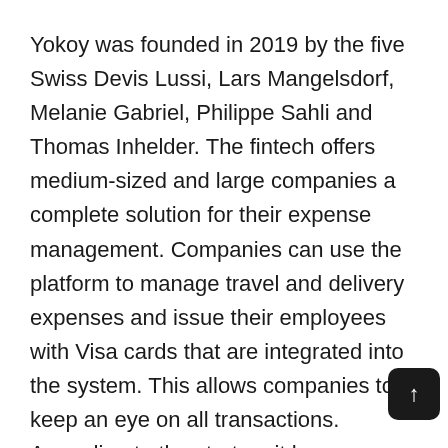Yokoy was founded in 2019 by the five Swiss Devis Lussi, Lars Mangelsdorf, Melanie Gabriel, Philippe Sahli and Thomas Inhelder. The fintech offers medium-sized and large companies a complete solution for their expense management. Companies can use the platform to manage travel and delivery expenses and issue their employees with Visa cards that are integrated into the system. This allows companies to keep an eye on all transactions. According to the startup, it has won more than 500 customers so far, including the parcel service provider DPD, the German group ASK Chemicals, the running shoe manufacturer On, the barcode unicorn Scandit and the neo-broker Bitpanda. Eric Demuth, CEO of Bitpan... also engaged as a business angel: "I know the